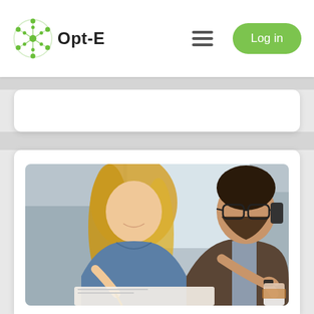Opt-E
[Figure (photo): Two business professionals in an office setting — a smiling blonde woman in a denim jacket and a bearded man in a brown blazer talking on the phone while pointing, with a coffee cup visible]
Follow-up and collaboration
Close follow-up of measures and deliveries